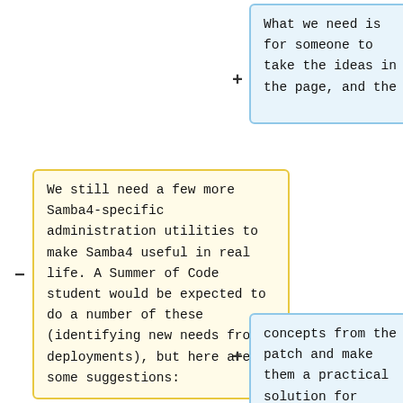What we need is for someone to take the ideas in the page, and the
We still need a few more Samba4-specific administration utilities to make Samba4 useful in real life. A Summer of Code student would be expected to do a number of these (identifying new needs from deployments), but here are some suggestions:
concepts from the patch and make them a practical solution for Samba.